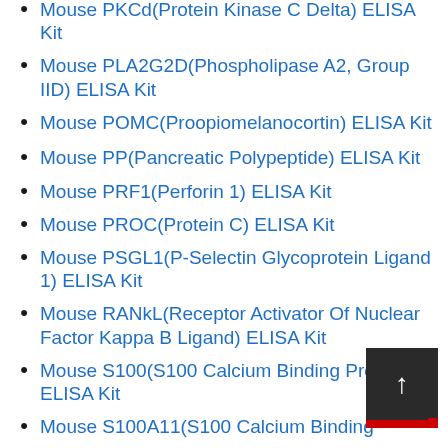Mouse PKCd(Protein Kinase C Delta) ELISA Kit
Mouse PLA2G2D(Phospholipase A2, Group IID) ELISA Kit
Mouse POMC(Proopiomelanocortin) ELISA Kit
Mouse PP(Pancreatic Polypeptide) ELISA Kit
Mouse PRF1(Perforin 1) ELISA Kit
Mouse PROC(Protein C) ELISA Kit
Mouse PSGL1(P-Selectin Glycoprotein Ligand 1) ELISA Kit
Mouse RANkL(Receptor Activator Of Nuclear Factor Kappa B Ligand) ELISA Kit
Mouse S100(S100 Calcium Binding Protein) ELISA Kit
Mouse S100A11(S100 Calcium Binding